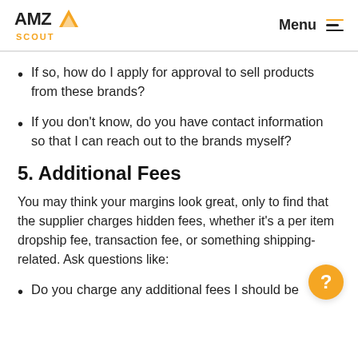AMZ SCOUT  Menu
If so, how do I apply for approval to sell products from these brands?
If you don't know, do you have contact information so that I can reach out to the brands myself?
5. Additional Fees
You may think your margins look great, only to find that the supplier charges hidden fees, whether it's a per item dropship fee, transaction fee, or something shipping-related. Ask questions like:
Do you charge any additional fees I should be aware of?